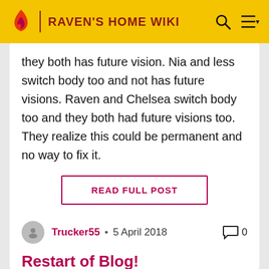RAVEN'S HOME WIKI
they both has future vision. Nia and less switch body too and not has future visions. Raven and Chelsea switch body too and they both had future visions too. They realize this could be permanent and no way to fix it.
READ FULL POST
Trucker55 • 5 April 2018  0
Restart of Blog!
Raven's Home Season 2...CAN'T WAIT!